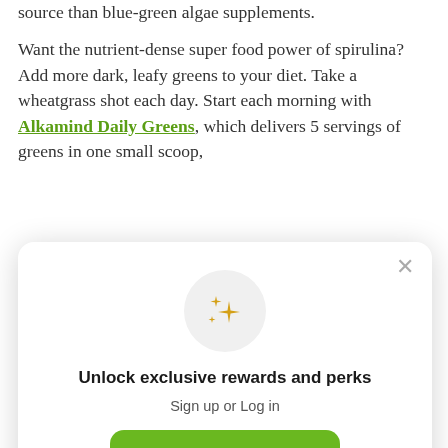source than blue-green algae supplements.

Want the nutrient-dense super food power of spirulina? Add more dark, leafy greens to your diet. Take a wheatgrass shot each day. Start each morning with Alkamind Daily Greens, which delivers 5 servings of greens in one small scoop, b g W g b A y p
[Figure (screenshot): Modal popup overlay with sparkle icon, titled 'Unlock exclusive rewards and perks', with 'Sign up or Log in' subtitle, a green 'Sign up' button, and 'Already have an account? Sign in' footer text. A close (×) button appears top-right of modal.]